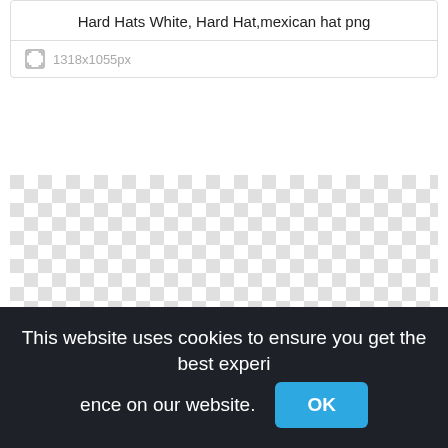Hard Hats White, Hard Hat,mexican hat png
1318x1055px
[Figure (other): Transparent checkerboard pattern area representing a PNG image preview with transparency]
This website uses cookies to ensure you get the best experience on our website.